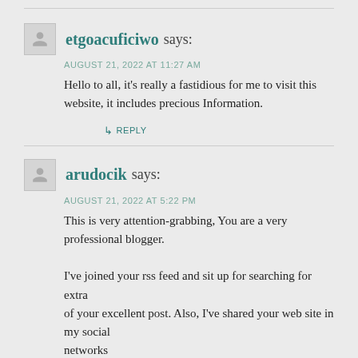etgoacuficiwo says:
AUGUST 21, 2022 AT 11:27 AM
Hello to all, it's really a fastidious for me to visit this website, it includes precious Information.
↳ REPLY
arudocik says:
AUGUST 21, 2022 AT 5:22 PM
This is very attention-grabbing, You are a very professional blogger.

I've joined your rss feed and sit up for searching for extra
of your excellent post. Also, I've shared your web site in my social
networks